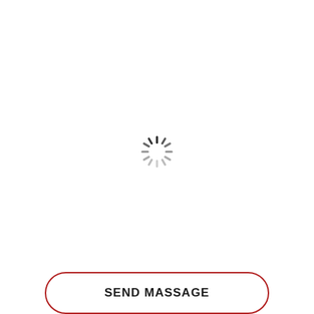[Figure (other): Loading spinner — circular arrangement of radial line segments in dark gray/black, resembling a clock-like spinner indicator, centered on the page]
SEND MASSAGE